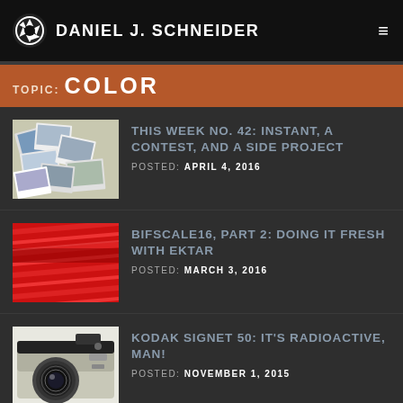DANIEL J. SCHNEIDER
TOPIC: COLOR
THIS WEEK NO. 42: INSTANT, A CONTEST, AND A SIDE PROJECT
POSTED: APRIL 4, 2016
BIFSCALE16, PART 2: DOING IT FRESH WITH EKTAR
POSTED: MARCH 3, 2016
KODAK SIGNET 50: IT'S RADIOACTIVE, MAN!
POSTED: NOVEMBER 1, 2015